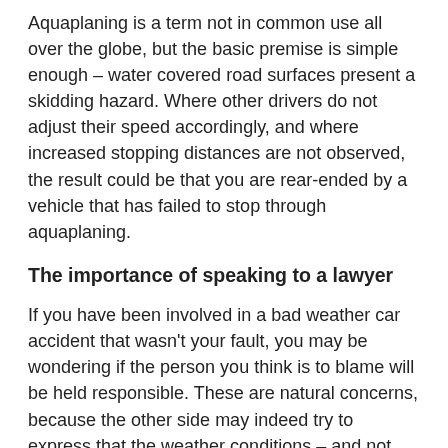Aquaplaning is a term not in common use all over the globe, but the basic premise is simple enough – water covered road surfaces present a skidding hazard. Where other drivers do not adjust their speed accordingly, and where increased stopping distances are not observed, the result could be that you are rear-ended by a vehicle that has failed to stop through aquaplaning.
The importance of speaking to a lawyer
If you have been involved in a bad weather car accident that wasn't your fault, you may be wondering if the person you think is to blame will be held responsible. These are natural concerns, because the other side may indeed try to express that the weather conditions – and not their own negligence – was to blame for having caused the accident.
That is why it is always important to speak to a car accident lawyer after any car crash involving poor or adverse weather conditions. A lawyer can speak to you